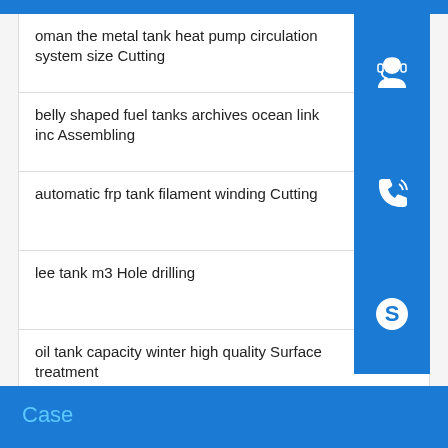oman the metal tank heat pump circulation system size Cutting
belly shaped fuel tanks archives ocean link inc Assembling
automatic frp tank filament winding Cutting
lee tank m3 Hole drilling
oil tank capacity winter high quality Surface treatment
welded steel low pressure lpg gas tanks Rolling
[Figure (illustration): Customer service headset icon in blue square]
[Figure (illustration): Phone handset icon in blue square]
[Figure (illustration): Skype logo icon in blue square]
Case